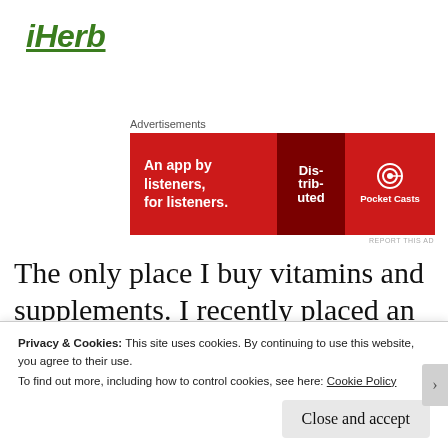[Figure (logo): iHerb logo in italic bold green underlined text]
Advertisements
[Figure (photo): Red advertisement banner for Pocket Casts app: 'An app by listeners, for listeners.' with phone graphic and Pocket Casts logo on red background]
REPORT THIS AD
The only place I buy vitamins and supplements. I recently placed an order and received it in less than 48 hours with free shipping! I compared the prices and they were lower than Amazon. I also love how they
Privacy & Cookies: This site uses cookies. By continuing to use this website, you agree to their use.
To find out more, including how to control cookies, see here: Cookie Policy
Close and accept